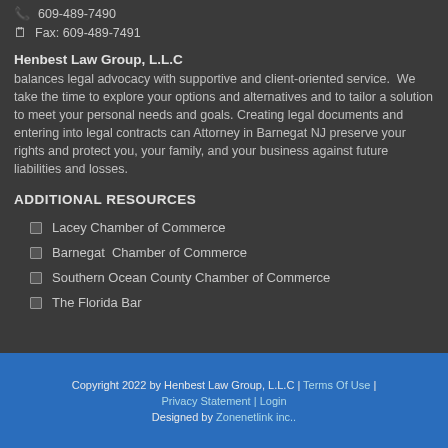609-489-7490
Fax: 609-489-7491
Henbest Law Group, L.L.C balances legal advocacy with supportive and client-oriented service.  We take the time to explore your options and alternatives and to tailor a solution to meet your personal needs and goals. Creating legal documents and entering into legal contracts can Attorney in Barnegat NJ preserve your rights and protect you, your family, and your business against future liabilities and losses.
ADDITIONAL RESOURCES
Lacey Chamber of Commerce
Barnegat  Chamber of Commerce
Southern Ocean County Chamber of Commerce
The Florida Bar
Copyright 2022 by Henbest Law Group, L.L.C | Terms Of Use | Privacy Statement | Login
Designed by Zonenetlink inc..